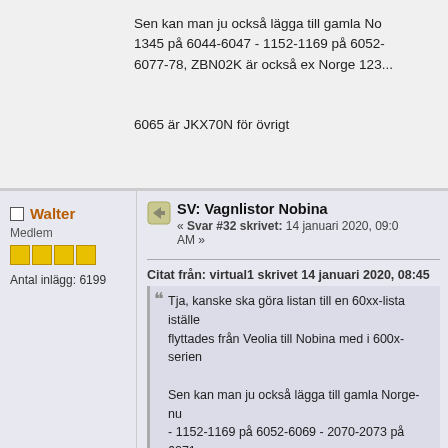Sen kan man ju också lägga till gamla No 1345 på 6044-6047 - 1152-1169 på 6052- 6077-78, ZBN02K är också ex Norge 123
6065 är JKX70N för övrigt
Walter
Medlem
Antal inlägg: 6199
SV: Vagnlistor Nobina
« Svar #32 skrivet: 14 januari 2020, 09:0 AM »
Citat från: virtual1 skrivet 14 januari 2020, 08:45
Tja, kanske ska göra listan till en 60xx-lista iställe flyttades från Veolia till Nobina med i 600x-serien
Sen kan man ju också lägga till gamla Norge-nu - 1152-1169 på 6052-6069 - 2070-2073 på 6071 Norge 1235
6065 är JKX70N för övrigt
Är Skövde bussarna 6071-6074? Vilken ä